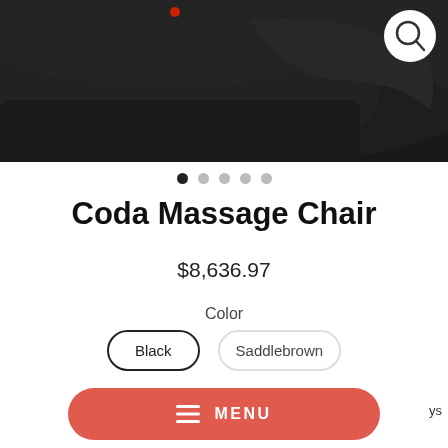[Figure (photo): Product photo of Coda Massage Chair, black leather, top portion visible, with magnifying glass icon in top right corner]
Coda Massage Chair
$8,636.97
Color
Black
Saddlebrown
Free Shipping
MENU